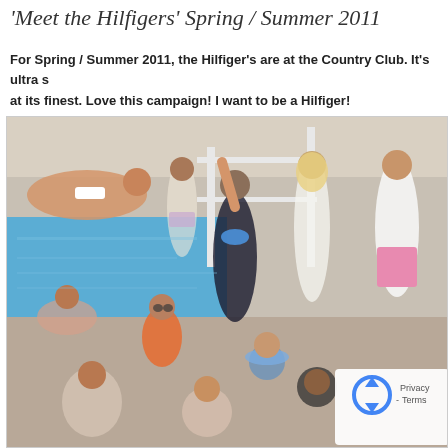'Meet the Hilfigers' Spring / Summer 2011
For Spring / Summer 2011, the Hilfiger's are at the Country Club. It's ultra s... at its finest. Love this campaign! I want to be a Hilfiger!
[Figure (photo): Tommy Hilfiger Spring/Summer 2011 advertising campaign photo showing a group of models in summer attire at a pool/country club setting. Models are wearing colorful summer clothes, bikinis, and casual wear. A reCAPTCHA widget overlay appears in the bottom right corner.]